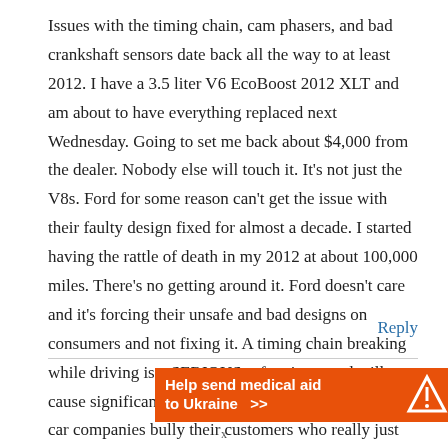Issues with the timing chain, cam phasers, and bad crankshaft sensors date back all the way to at least 2012. I have a 3.5 liter V6 EcoBoost 2012 XLT and am about to have everything replaced next Wednesday. Going to set me back about $4,000 from the dealer. Nobody else will touch it. It's not just the V8s. Ford for some reason can't get the issue with their faulty design fixed for almost a decade. I started having the rattle of death in my 2012 at about 100,000 miles. There's no getting around it. Ford doesn't care and it's forcing their unsafe and bad designs on consumers and not fixing it. A timing chain breaking while driving is a SERIOUS safety issue and will cause significant damage internally also. It's sad these car companies bully their customers who really just want a safe car to drive.
Reply
[Figure (other): Orange advertisement banner for DirectRelief reading 'Help send medical aid to Ukraine >>' with DirectRelief logo on right side]
x